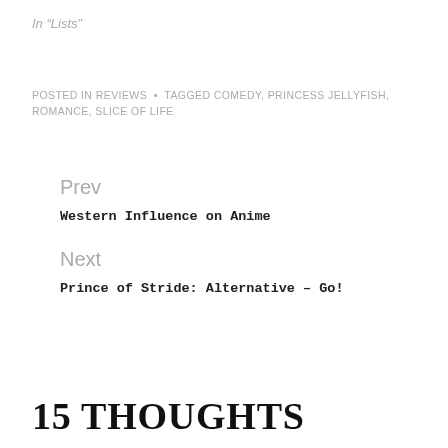In "Lists"
POSTED IN REVIEWS  •  TAGGED COMEDY, PRINCESS JELLYFISH, ROMANCE, SLICE OF LIFE
Prev
Western Influence on Anime
Next
Prince of Stride: Alternative – Go!
15 THOUGHTS